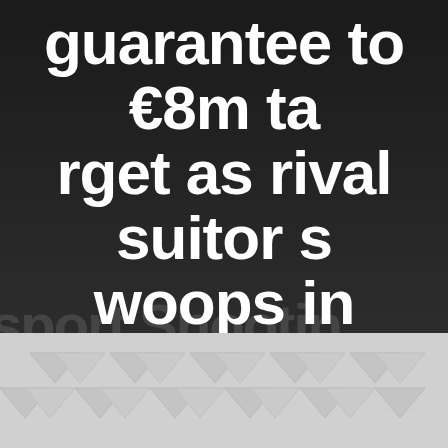guarantee to €8m target as rival suitor s woops in
Home  -  Uncategorized  -  Arsenal fail to make guarantee to €8m target as rival suitor swoops in
[Figure (other): Bottom decorative area with repeating triangle/arrow pattern in light grey on white background]